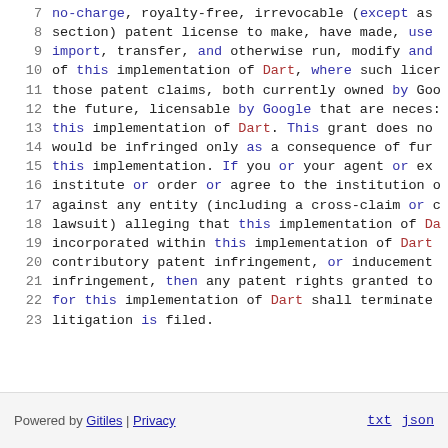7  no-charge, royalty-free, irrevocable (except as
8  section) patent license to make, have made, use
9  import, transfer, and otherwise run, modify and
10 of this implementation of Dart, where such licer
11 those patent claims, both currently owned by Goo
12 the future, licensable by Google that are neces:
13 this implementation of Dart. This grant does no
14 would be infringed only as a consequence of fur
15 this implementation. If you or your agent or ex
16 institute or order or agree to the institution o
17 against any entity (including a cross-claim or c
18 lawsuit) alleging that this implementation of Da
19 incorporated within this implementation of Dart
20 contributory patent infringement, or inducement
21 infringement, then any patent rights granted to
22 for this implementation of Dart shall terminate
23 litigation is filed.
Powered by Gitiles | Privacy   txt  json